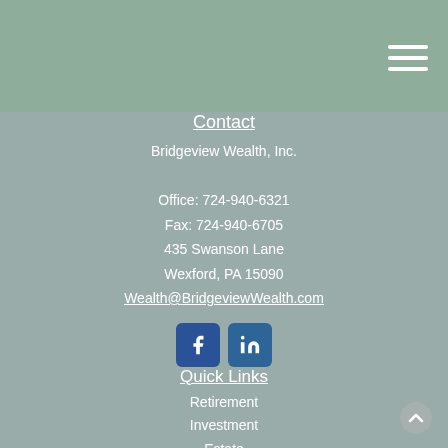Navigation menu icon (hamburger)
Contact
Bridgeview Wealth, Inc.
Office: 724-940-6321
Fax: 724-940-6705
435 Swanson Lane
Wexford, PA 15090
Wealth@BridgeviewWealth.com
[Figure (illustration): Social media icons: Facebook and LinkedIn]
Quick Links
Retirement
Investment
Estate
Insurance
Tax
Money
Lifestyle